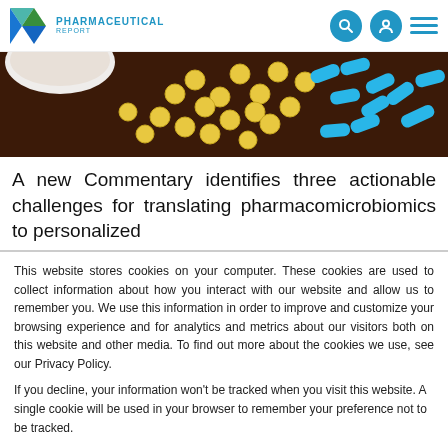PHARMACEUTICAL REPORT
[Figure (photo): Close-up photo of yellow round pills and blue capsule-shaped pills scattered on a dark brown wooden surface, with a white bowl partially visible in the upper left.]
A new Commentary identifies three actionable challenges for translating pharmacomicrobiomics to personalized
This website stores cookies on your computer. These cookies are used to collect information about how you interact with our website and allow us to remember you. We use this information in order to improve and customize your browsing experience and for analytics and metrics about our visitors both on this website and other media. To find out more about the cookies we use, see our Privacy Policy.
If you decline, your information won't be tracked when you visit this website. A single cookie will be used in your browser to remember your preference not to be tracked.
Accept  Decline